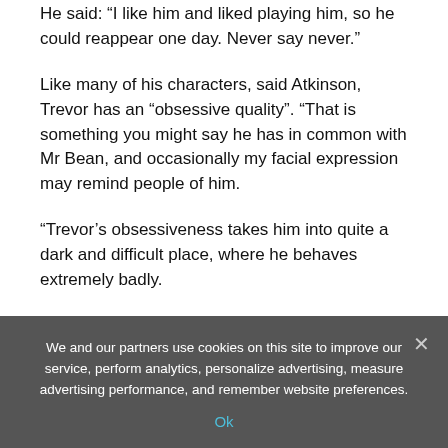He said: “I like him and liked playing him, so he could reappear one day. Never say never.”
Like many of his characters, said Atkinson, Trevor has an “obsessive quality”. “That is something you might say he has in common with Mr Bean, and occasionally my facial expression may remind people of him.
“Trevor’s obsessiveness takes him into quite a dark and difficult place, where he behaves extremely badly.
“But ultimately, he’s an ordinary, sweet-natured guy, which is not how I would describe most other characters that I’ve played.”
We and our partners use cookies on this site to improve our service, perform analytics, personalize advertising, measure advertising performance, and remember website preferences.
Ok